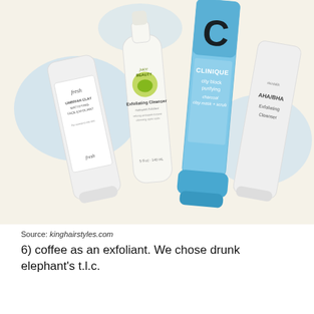[Figure (photo): Four skincare exfoliating products arranged diagonally on a light beige and pale blue decorative background: Fresh Umbrian Clay Mattifying Face Exfoliant (white tube), Juice Beauty Exfoliating Cleanser (white bottle with green logo), Clinique City Block Purifying Charcoal Clay Mask + Scrub (blue tube), and an AHA/BHA Exfoliating Cleanser (white tube).]
Source: kinghairstyles.com
6) coffee as an exfoliant. We chose drunk elephant's t.l.c.